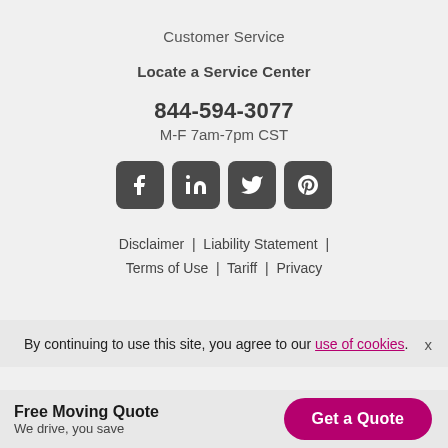Customer Service
Locate a Service Center
844-594-3077
M-F 7am-7pm CST
[Figure (illustration): Four social media icons in dark grey rounded squares: Facebook, LinkedIn, Twitter, Pinterest]
Disclaimer  |  Liability Statement  |  Terms of Use  |  Tariff  |  Privacy
By continuing to use this site, you agree to our use of cookies.
Free Moving Quote
We drive, you save
Get a Quote